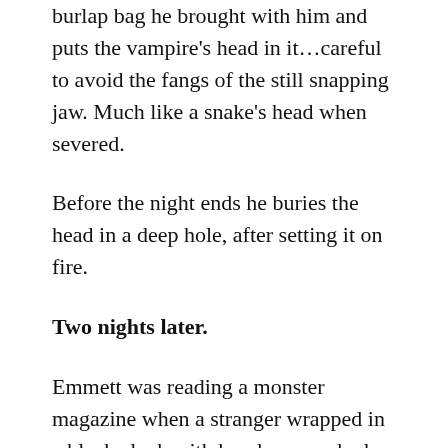burlap bag he brought with him and puts the vampire's head in it…careful to avoid the fangs of the still snapping jaw. Much like a snake's head when severed.
Before the night ends he buries the head in a deep hole, after setting it on fire.
Two nights later.
Emmett was reading a monster magazine when a stranger wrapped in a black cloak with hood approached the check-in counter and asked what room Christopher Ward Cummings III was in? Annoyed at the interruption Emmett brushed him off, “We don’t give out that kind of information at The Whitmore,” and started to go